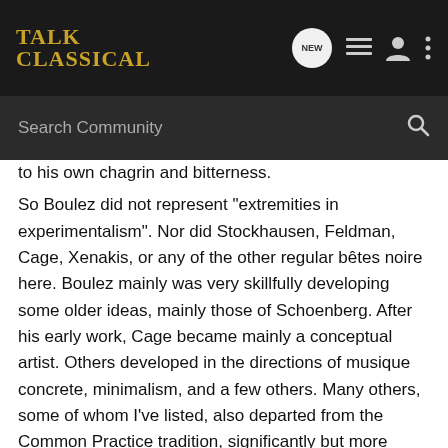TalkClassical
Search Community
to his own chagrin and bitterness.
So Boulez did not represent "extremities in experimentalism". Nor did Stockhausen, Feldman, Cage, Xenakis, or any of the other regular bêtes noire here. Boulez mainly was very skillfully developing some older ideas, mainly those of Schoenberg. After his early work, Cage became mainly a conceptual artist. Others developed in the directions of musique concrete, minimalism, and a few others. Many others, some of whom I've listed, also departed from the Common Practice tradition, significantly but more subtly.
To me, all of that was an inevitable outgrowth of the ideas of Stravinsky, et al., it's all equally experimental, and none of it signifies a new 310-year era. What Strange Magic calls the New Stasis may be the early stages of a long era of this kind of